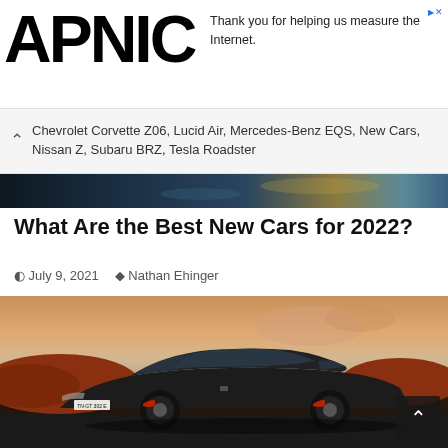APNIC
Thank you for helping us measure the Internet.
Chevrolet Corvette Z06, Lucid Air, Mercedes-Benz EQS, New Cars, Nissan Z, Subaru BRZ, Tesla Roadster
[Figure (photo): Dark abstract strip image showing car-related abstract background]
What Are the Best New Cars for 2022?
July 9, 2021  Nathan Ehinger
[Figure (photo): A dark grey Audi e-tron GT electric sports sedan parked on a scenic desert road with dramatic orange-pink sky and red rock formations in the background. License plate reads TN-GT 302 E.]